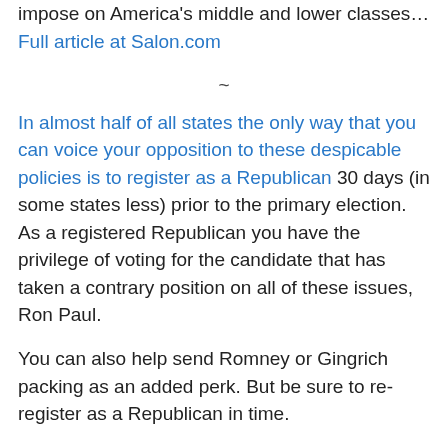impose on America's middle and lower classes... Full article at Salon.com
~
In almost half of all states the only way that you can voice your opposition to these despicable policies is to register as a Republican 30 days (in some states less) prior to the primary election. As a registered Republican you have the privilege of voting for the candidate that has taken a contrary position on all of these issues, Ron Paul.
You can also help send Romney or Gingrich packing as an added perk. But be sure to re-register as a Republican in time.
From The Center for Voting and Democracy:
Here are the types of Primaries in the states